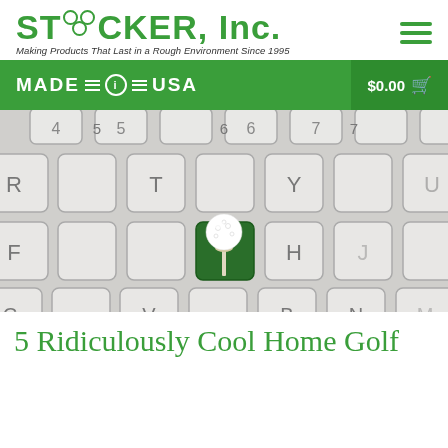STACKER, Inc. — Making Products That Last in a Rough Environment Since 1995
[Figure (logo): STACKER, Inc. logo with three golf-ball circles replacing the 'A', green bold text, italic tagline below]
[Figure (infographic): Green navigation bar with MADE IN USA badge on left and $0.00 cart on right]
[Figure (photo): Close-up photo of a white computer keyboard with a golf ball on a tee sitting on a green grass key in place of the G key]
5 Ridiculously Cool Home Golf